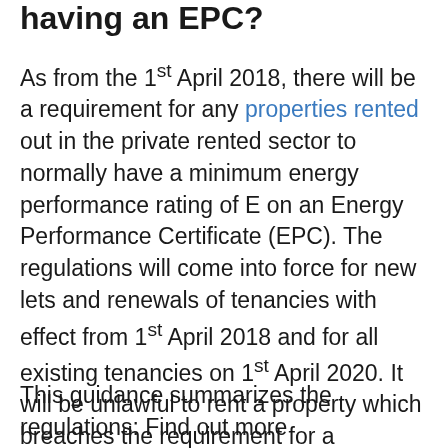having an EPC?
As from the 1st April 2018, there will be a requirement for any properties rented out in the private rented sector to normally have a minimum energy performance rating of E on an Energy Performance Certificate (EPC). The regulations will come into force for new lets and renewals of tenancies with effect from 1st April 2018 and for all existing tenancies on 1st April 2020. It will be unlawful to rent a property which breaches the requirement for a minimum E rating unless there is an applicable exemption. A civil penalty of up to £4,000 will be imposed for breaches.
This guidance summarizes the regulations: Find out more